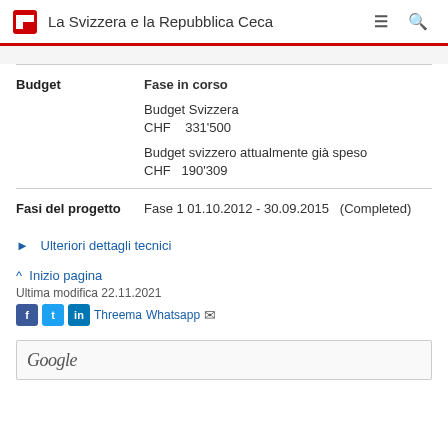La Svizzera e la Repubblica Ceca
| Label | Value |
| --- | --- |
| Budget | Fase in corso
Budget Svizzera
CHF 331'500
Budget svizzero attualmente già speso
CHF 190'309 |
| Fasi del progetto | Fase 1 01.10.2012 - 30.09.2015 (Completed) |
Ulteriori dettagli tecnici
^ Inizio pagina
Ultima modifica 22.11.2021
Facebook Twitter LinkedIn Threema Whatsapp Email